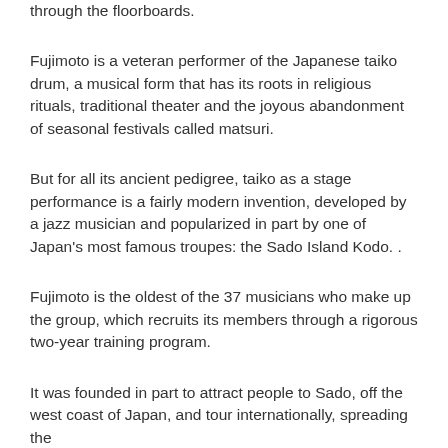front of him, producing a boom so powerful it reverberated through the floorboards.
Fujimoto is a veteran performer of the Japanese taiko drum, a musical form that has its roots in religious rituals, traditional theater and the joyous abandonment of seasonal festivals called matsuri.
But for all its ancient pedigree, taiko as a stage performance is a fairly modern invention, developed by a jazz musician and popularized in part by one of Japan's most famous troupes: the Sado Island Kodo. .
Fujimoto is the oldest of the 37 musicians who make up the group, which recruits its members through a rigorous two-year training program.
It was founded in part to attract people to Sado, off the west coast of Japan, and tour internationally, spreading the